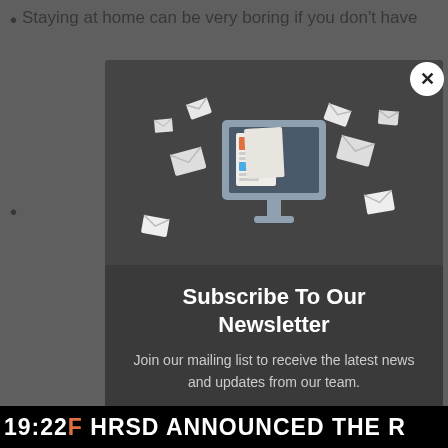Staying at home can be very boring if you don't have
[Figure (screenshot): Newsletter subscription popup modal with dark background, illustration of a computer monitor with envelopes/emails flying around it, subscribe form with email input and subscribe button, and a close (X) button in the top right corner.]
19:22 HRSD ANNOUNCED THE R